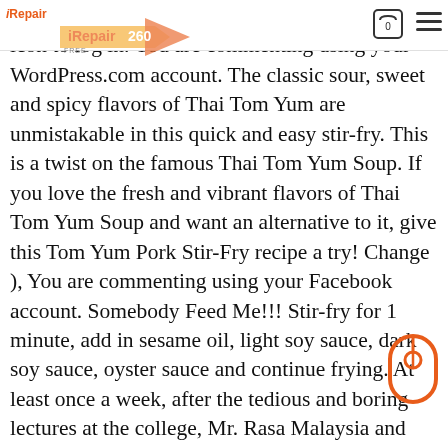iRepair 260 | 0 | menu
processor. Fill in your details below or click an icon to log in. You are commenting using your WordPress.com account. The classic sour, sweet and spicy flavors of Thai Tom Yum are unmistakable in this quick and easy stir-fry. This is a twist on the famous Thai Tom Yum Soup. If you love the fresh and vibrant flavors of Thai Tom Yum Soup and want an alternative to it, give this Tom Yum Pork Stir-Fry recipe a try! Change ), You are commenting using your Facebook account. Somebody Feed Me!!! Stir-fry for 1 minute, add in sesame oil, light soy sauce, dark soy sauce, oyster sauce and continue frying. At least once a week, after the tedious and boring lectures at the college, Mr. Rasa Malaysia and our best friends would descend to the Malay warung (Malay food stall) right outside of our college.. We would always order our favorite ayam paprik—a mouthwatering spicy Change ), You are commenting using your Google account. https://asianinspirations.com.au/recipes/tom-yum-fried-rice The BEST Keto Sesame Chicken Stir Fry recipe has only 5g of carbs. 4. Anyone following a Keto diet knows how hard it is to find diet-friendly dishes at a